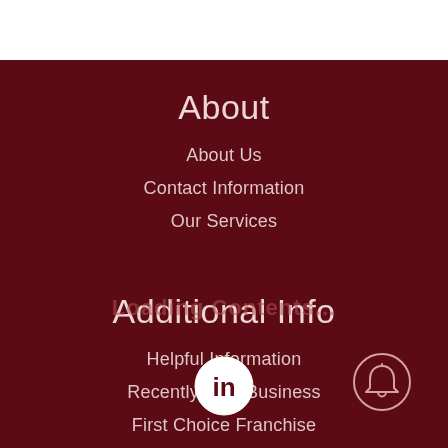About
About Us
Contact Information
Our Services
Additional Info
Helpful Information
Recently Sold Business
First Choice Franchise
[Figure (logo): LinkedIn logo icon (white 'in' on white circle)]
[Figure (icon): Bell notification icon (outline circle with bell symbol)]